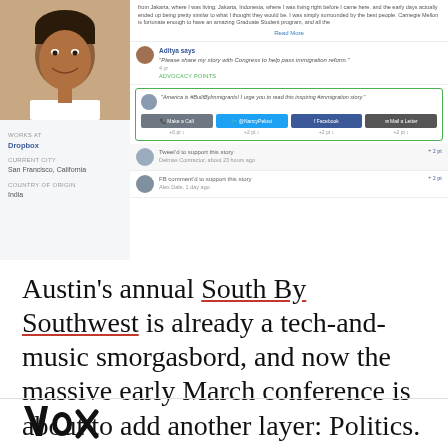[Figure (screenshot): Screenshot of a social/advocacy web app showing a user profile (Aditya, works at Dropbox, San Francisco, India) on the left and a Facebook-style feed on the right with advocacy posts, share buttons (Make a Call, @NancyPelosi Twitter, Facebook, Mail a Letter), and activity items. Immigration reform advocacy content visible.]
Austin's annual South By Southwest is already a tech-and-music smorgasbord, and now the massive early March conference is about to add another layer: Politics.
[Figure (logo): Vox media logo in bold black text]